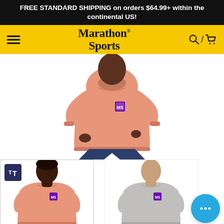FREE STANDARD SHIPPING on orders $64.99+ within the continental US!
[Figure (screenshot): Marathon Sports website navigation bar with yellow background, hamburger menu icon on left, Marathon Sports serif logo in center, and search/cart icons on right]
[Figure (photo): Model wearing a peach/salmon colored crewneck sweatshirt with a small purple Marathon Sports logo patch on the left chest, shown from torso up against white background]
[Figure (photo): Thumbnail: model wearing peach crewneck sweatshirt with Marathon Sports patch, shown with text-size accessibility icon overlay in top-left corner]
[Figure (photo): Thumbnail: model wearing gray crewneck sweatshirt with Marathon Sports patch, shown from torso up]
[Figure (other): Blue circular chat support button with ellipsis (three dots) icon]